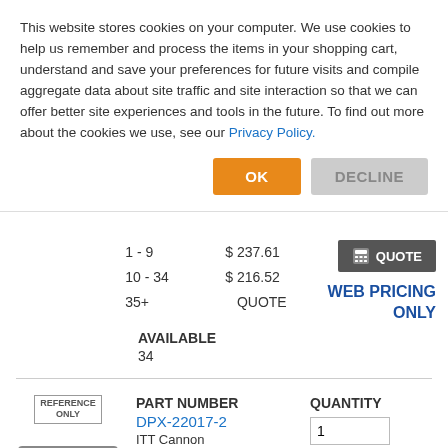This website stores cookies on your computer. We use cookies to help us remember and process the items in your shopping cart, understand and save your preferences for future visits and compile aggregate data about site traffic and site interaction so that we can offer better site experiences and tools in the future. To find out more about the cookies we use, see our Privacy Policy.
| Quantity | Price |
| --- | --- |
| 1 - 9 | $237.61 |
| 10 - 34 | $216.52 |
| 35+ | QUOTE |
WEB PRICING ONLY
AVAILABLE
34
PART NUMBER
DPX-22017-2
ITT Cannon
RP DPXA22017-2
QUANTITY
PRICE
Price available by Quote only